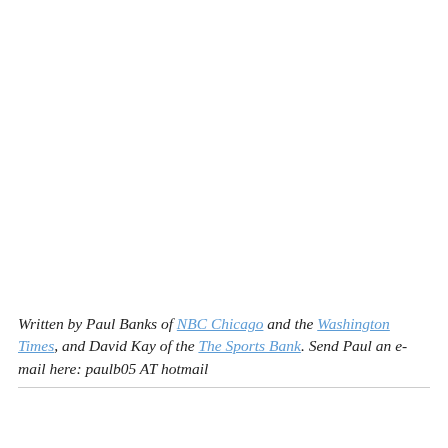Written by Paul Banks of NBC Chicago and the Washington Times, and David Kay of the The Sports Bank. Send Paul an e-mail here: paulb05 AT hotmail